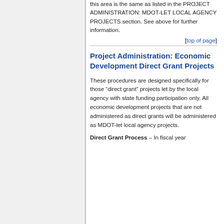this area is the same as listed in the PROJECT ADMINISTRATION: MDOT-LET LOCAL AGENCY PROJECTS section. See above for further information.
[top of page]
Project Administration: Economic Development Direct Grant Projects
These procedures are designed specifically for those “direct grant” projects let by the local agency with state funding participation only. All economic development projects that are not administered as direct grants will be administered as MDOT-let local agency projects.
Direct Grant Process – In fiscal year